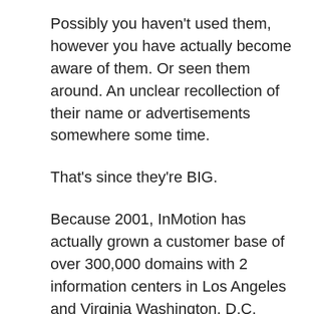Possibly you haven't used them, however you have actually become aware of them. Or seen them around. An unclear recollection of their name or advertisements somewhere some time.
That's since they're BIG.
Because 2001, InMotion has actually grown a customer base of over 300,000 domains with 2 information centers in Los Angeles and Virginia Washington, D.C.
As one of the older and more recognized names in the market, they also boast grand claims of being number one in transfers, assistance, and market